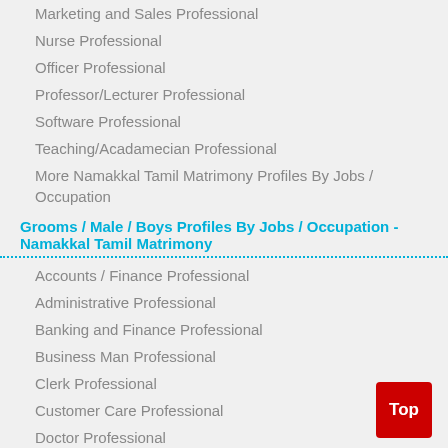Marketing and Sales Professional
Nurse Professional
Officer Professional
Professor/Lecturer Professional
Software Professional
Teaching/Acadamecian Professional
More Namakkal Tamil Matrimony Profiles By Jobs / Occupation
Grooms / Male / Boys Profiles By Jobs / Occupation - Namakkal Tamil Matrimony
Accounts / Finance Professional
Administrative Professional
Banking and Finance Professional
Business Man Professional
Clerk Professional
Customer Care Professional
Doctor Professional
Education Professional
Engineer - Non IT Professional
IT and Engineering Professional
Lawyer and Legal Professional